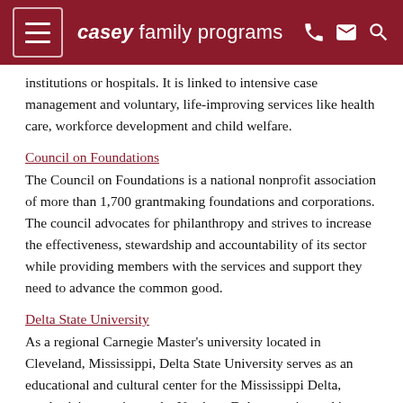casey family programs
institutions or hospitals. It is linked to intensive case management and voluntary, life-improving services like health care, workforce development and child welfare.
Council on Foundations
The Council on Foundations is a national nonprofit association of more than 1,700 grantmaking foundations and corporations. The council advocates for philanthropy and strives to increase the effectiveness, stewardship and accountability of its sector while providing members with the services and support they need to advance the common good.
Delta State University
As a regional Carnegie Master's university located in Cleveland, Mississippi, Delta State University serves as an educational and cultural center for the Mississippi Delta, emphasizing service to the Northern Delta counties and its campus centers in Clarksdale and Greenville in traditional and distance education formats. The University offers...